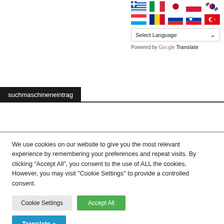[Figure (infographic): Two rows of country flag icons displayed in a grid, followed by a Select Language dropdown and Google Translate branding]
suchmaschineneintrag
We use cookies on our website to give you the most relevant experience by remembering your preferences and repeat visits. By clicking “Accept All”, you consent to the use of ALL the cookies. However, you may visit "Cookie Settings" to provide a controlled consent.
Cookie Settings | Accept All
Translate »